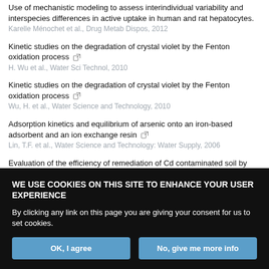Use of mechanistic modeling to assess interindividual variability and interspecies differences in active uptake in human and rat hepatocytes. Karelle Ménochet et al., Drug Metab Dispos, 2012
Kinetic studies on the degradation of crystal violet by the Fenton oxidation process. H. Wu et al., Water Sci Technol, 2010
Kinetic studies on the degradation of crystal violet by the Fenton oxidation process. Wu, H. et al., Water Science and Technology, 2010
Adsorption kinetics and equilibrium of arsenic onto an iron-based adsorbent and an ion exchange resin. Lin, T.F. et al., Water Science and Technology: Water Supply, 2006
Evaluation of the efficiency of remediation of Cd contaminated soil by
WE USE COOKIES ON THIS SITE TO ENHANCE YOUR USER EXPERIENCE
By clicking any link on this page you are giving your consent for us to set cookies.